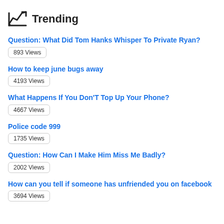Trending
Question: What Did Tom Hanks Whisper To Private Ryan?
893 Views
How to keep june bugs away
4193 Views
What Happens If You Don'T Top Up Your Phone?
4667 Views
Police code 999
1735 Views
Question: How Can I Make Him Miss Me Badly?
2002 Views
How can you tell if someone has unfriended you on facebook
3694 Views